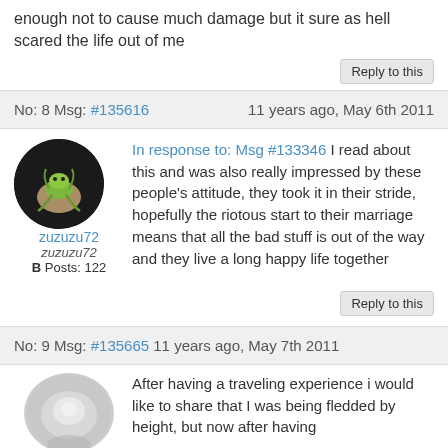enough not to cause much damage but it sure as hell scared the life out of me
Reply to this
No: 8 Msg: #135616    11 years ago, May 6th 2011
In response to: Msg #133346 I read about this and was also really impressed by these people's attitude, they took it in their stride, hopefully the riotous start to their marriage means that all the bad stuff is out of the way and they live a long happy life together
zuzuzu72
zuzuzu72
B Posts: 122
Reply to this
No: 9 Msg: #135665    11 years ago, May 7th 2011
After having a traveling experience i would like to share that I was being fledded by height, but now after having